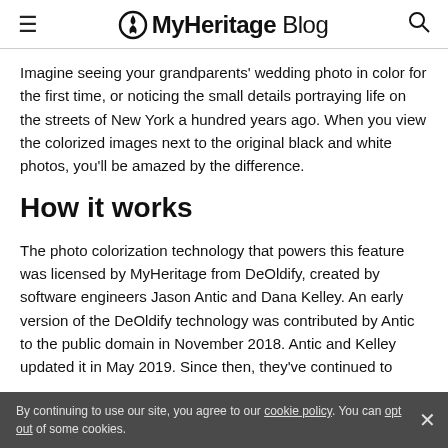≡  MyHeritage Blog  🔍
Imagine seeing your grandparents' wedding photo in color for the first time, or noticing the small details portraying life on the streets of New York a hundred years ago. When you view the colorized images next to the original black and white photos, you'll be amazed by the difference.
How it works
The photo colorization technology that powers this feature was licensed by MyHeritage from DeOldify, created by software engineers Jason Antic and Dana Kelley. An early version of the DeOldify technology was contributed by Antic to the public domain in November 2018. Antic and Kelley updated it in May 2019. Since then, they've continued to latest version produces colorized photos of unprecedented
By continuing to use our site, you agree to our cookie policy. You can opt out of some cookies.